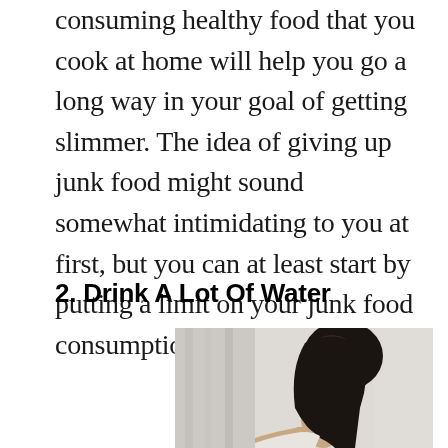consuming healthy food that you cook at home will help you go a long way in your goal of getting slimmer. The idea of giving up junk food might sound somewhat intimidating to you at first, but you can at least start by putting a limit on your junk food consumption.
2. Drink A Lot Of Water
[Figure (photo): A person with dark hair, partial side/front view of face and head, against a light curtained background]